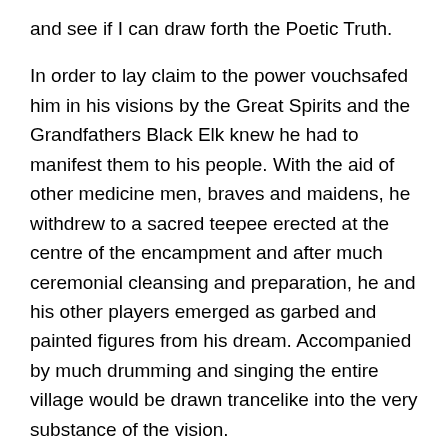and see if I can draw forth the Poetic Truth.
In order to lay claim to the power vouchsafed him in his visions by the Great Spirits and the Grandfathers Black Elk knew he had to manifest them to his people. With the aid of other medicine men, braves and maidens, he withdrew to a sacred teepee erected at the centre of the encampment and after much ceremonial cleansing and preparation, he and his other players emerged as garbed and painted figures from his dream. Accompanied by much drumming and singing the entire village would be drawn trancelike into the very substance of the vision.
Such is the awesome power of the shaman in integrating and harmonizing all the disparate elements of a nation, harnessing the energies to a shared commonality, creating coherence and identity in the group, and situating the